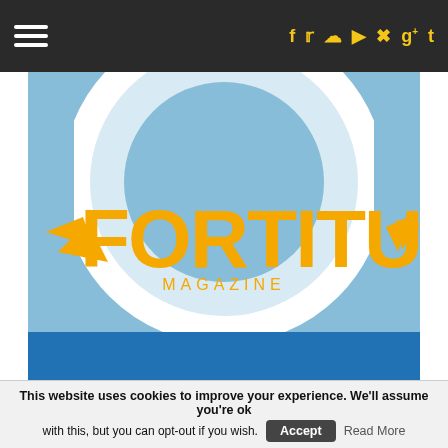Fortitude Magazine — navigation bar with hamburger menu and social icons (f, twitter, instagram, youtube, pinterest, g+, t)
[Figure (logo): Fortitude Magazine logo — orange bold text 'FORTITUDE' with winged F, 'MAGAZINE' subtitle, on a light blue background with a large circular shape, and a blue bar at bottom]
Author: Brett Walton
A politics and history graduate from the Nottingham Trent University. Particularly interested in global politics, alternative political systems, elections and football. Based in the West Midlands, I am focussing
This website uses cookies to improve your experience. We'll assume you're ok with this, but you can opt-out if you wish. Accept  Read More